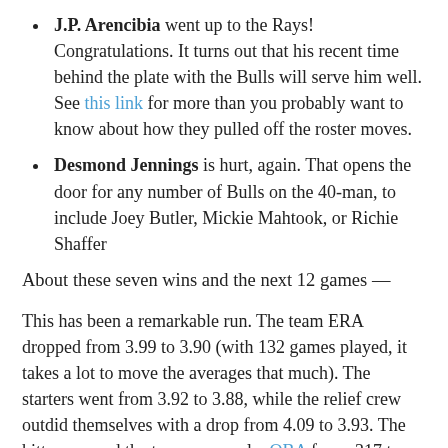J.P. Arencibia went up to the Rays! Congratulations. It turns out that his recent time behind the plate with the Bulls will serve him well. See this link for more than you probably want to know about how they pulled off the roster moves.
Desmond Jennings is hurt, again. That opens the door for any number of Bulls on the 40-man, to include Joey Butler, Mickie Mahtook, or Richie Shaffer
About these seven wins and the next 12 games —
This has been a remarkable run. The team ERA dropped from 3.99 to 3.90 (with 132 games played, it takes a lot to move the averages that much). The starters went from 3.92 to 3.88, while the relief crew outdid themselves with a drop from 4.09 to 3.93. The hitters moved the team seasonal wOBA from .317 to .321 over the seven games. That may not seem like much, but, again, at this point in the season that's a big move. The team wOBA hasn't been that high since July 22. The last time the team pitching has been in this range was back on July 16th.